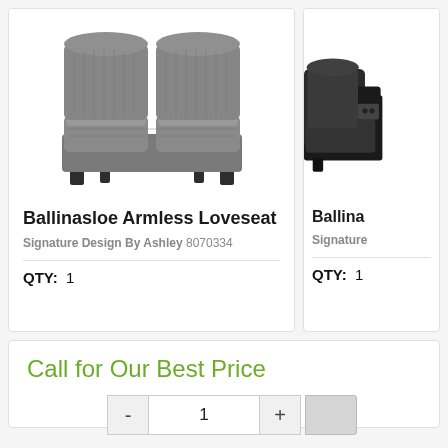[Figure (photo): Gray fabric armless loveseat sofa with two cushions and dark legs]
Ballinasloe Armless Loveseat
Signature Design By Ashley 8070334
QTY:  1
[Figure (photo): Partial view of a dark fabric chair/sofa corner piece]
Ballina
Signature
QTY:  1
Call for Our Best Price
- 1 +